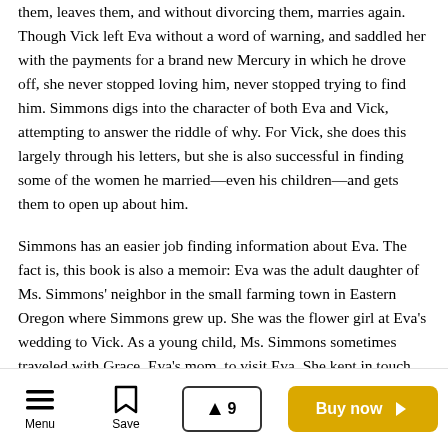them, leaves them, and without divorcing them, marries again. Though Vick left Eva without a word of warning, and saddled her with the payments for a brand new Mercury in which he drove off, she never stopped loving him, never stopped trying to find him. Simmons digs into the character of both Eva and Vick, attempting to answer the riddle of why. For Vick, she does this largely through his letters, but she is also successful in finding some of the women he married—even his children—and gets them to open up about him.
Simmons has an easier job finding information about Eva. The fact is, this book is also a memoir: Eva was the adult daughter of Ms. Simmons' neighbor in the small farming town in Eastern Oregon where Simmons grew up. She was the flower girl at Eva's wedding to Vick. As a young child, Ms. Simmons sometimes traveled with Grace, Eva's mom, to visit Eva. She kept in touch with Eva right to the end, even visiting her on her death bed. Eva left behind a trunk
Menu | Save | ▲ 9 | Buy now